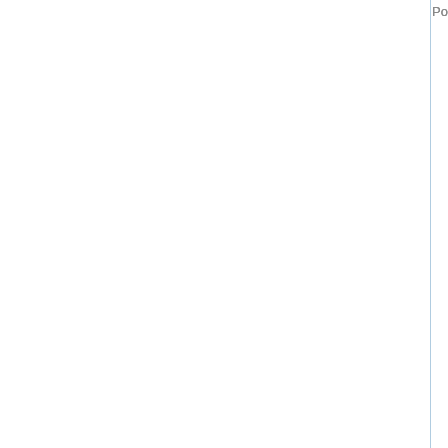Posted by: Air Max 24 7 | May 16, 201...
Then he gives good, but incompl...
Posted by: nike air max | May 17, 2011
Never done in the article commen... sharing. Very good articl
Posted by: Brand Bikinis | May 22, 201...
You can share some of your artic... will continue to focus on
Posted by: Christian Louboutin Outlet...
Sorry,i don't know how to receive...
http://www.christianlouboutindis...
Posted by: Christian Louboutin Outlet...